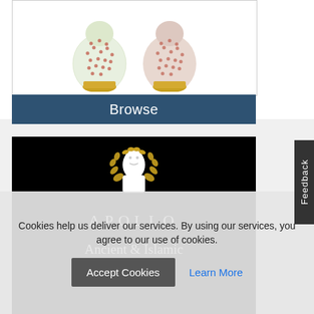[Figure (photo): Two decorative porcelain vases with green and red floral pattern on white background, gold bases]
Browse
[Figure (logo): Apollo Ancient & Islamic Art logo — classical bust with laurel wreath on black background, white text reading APOLLO and Ancient & Islamic Art]
Cookies help us deliver our services. By using our services, you agree to our use of cookies.
Accept Cookies
Learn More
Feedback